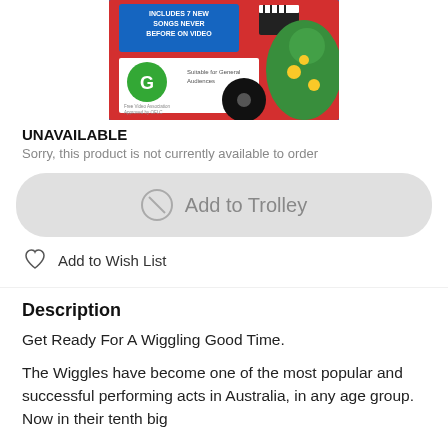[Figure (photo): Product image of The Wiggles DVD with G rating label, showing dinosaur character and text 'Includes 7 New Songs Never Before On Video']
UNAVAILABLE
Sorry, this product is not currently available to order
Add to Trolley
Add to Wish List
Description
Get Ready For A Wiggling Good Time.
The Wiggles have become one of the most popular and successful performing acts in Australia, in any age group. Now in their tenth big